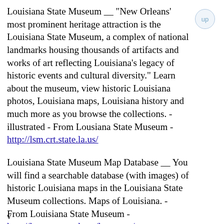Louisiana State Museum __ "New Orleans' most prominent heritage attraction is the Louisiana State Museum, a complex of national landmarks housing thousands of artifacts and works of art reflecting Louisiana's legacy of historic events and cultural diversity." Learn about the museum, view historic Louisiana photos, Louisiana maps, Louisiana history and much more as you browse the collections. - illustrated - From Lousiana State Museum - http://lsm.crt.state.la.us/
Louisiana State Museum Map Database __ You will find a searchable database (with images) of historic Louisiana maps in the Louisiana State Museum collections. Maps of Louisiana. - From Louisiana State Museum - http://lsm.crt.state.la.us/lsmmaps/
v